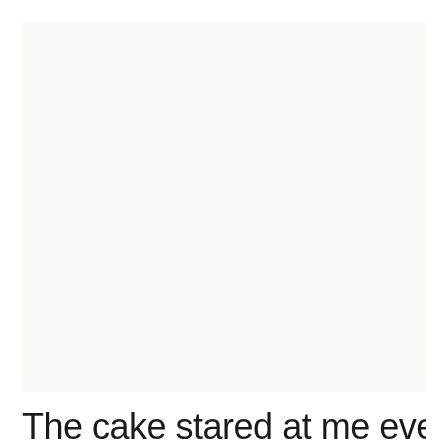[Figure (photo): A large light gray/off-white rectangular image area, nearly blank with a slightly warm off-white background color.]
The cake stared at me every time I walked